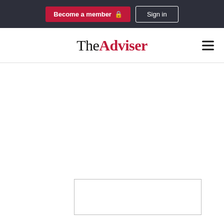Become a member  Sign in
[Figure (logo): The Adviser logo — 'The' in black serif, 'Adviser' in red bold serif, with hamburger menu icon on right]
Borrower
SMEs
loan against property